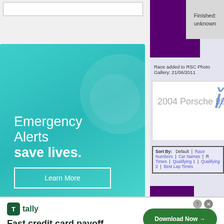[Figure (screenshot): Left sidebar with a search bar at top and a teal/green Emergency Alerts advertisement banner]
Emergency Alerts save lives.
Learn More
Finished: unknown
Race added to RSC Photo Gallery: 21/06/2011
2004 Porsche 996 RSR
Sort By:   Default  |  Race Numbers  |  Car Names  |  R... Times  |  Qualifying 1  |  Qualifying 2  |  Best Lap Times
[Figure (screenshot): Bottom advertisement for Tally - Fast credit card payoff app with Download Now button]